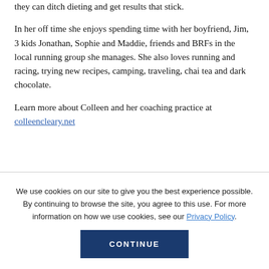they can ditch dieting and get results that stick.
In her off time she enjoys spending time with her boyfriend, Jim, 3 kids Jonathan, Sophie and Maddie, friends and BRFs in the local running group she manages. She also loves running and racing, trying new recipes, camping, traveling, chai tea and dark chocolate.
Learn more about Colleen and her coaching practice at colleencleary.net
We use cookies on our site to give you the best experience possible. By continuing to browse the site, you agree to this use. For more information on how we use cookies, see our Privacy Policy.
CONTINUE